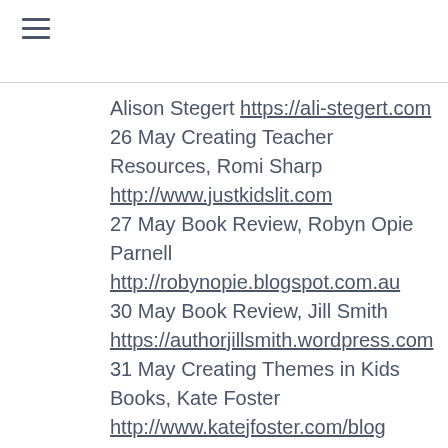Alison Stegert https://ali-stegert.com
26 May Creating Teacher Resources, Romi Sharp http://www.justkidslit.com
27 May Book Review, Robyn Opie Parnell http://robynopie.blogspot.com.au
30 May Book Review, Jill Smith https://authorjillsmith.wordpress.com
31 May Creating Themes in Kids Books, Kate Foster http://www.katejfoster.com/blog
1 June Illustrate a Children's Novel, June Perkins https://gumbootspearlz.org
Book Giveaway
WIN two signed copies of Jo-Kin vs Lord Terra, OR 3 eBooks OR signed artwork from